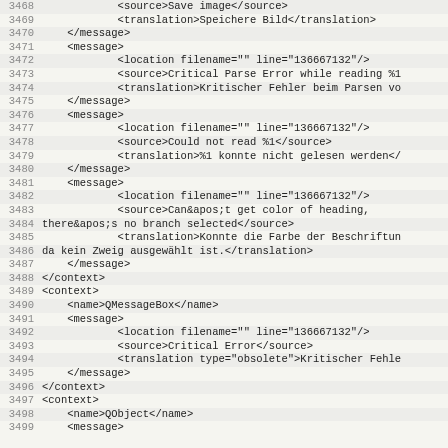Code listing lines 3468-3499 showing XML translation file content